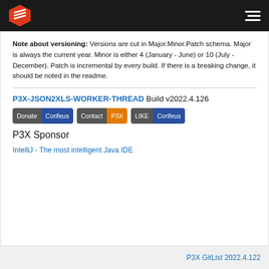P3X GitList navigation bar
Note about versioning: Versions are cut in Major.Minor.Patch schema. Major is always the current year. Minor is either 4 (January - June) or 10 (July - December). Patch is incremental by every build. If there is a breaking change, it should be noted in the readme.
P3X-JSON2XLS-WORKER-THREAD Build v2022.4.126
Donate Corifeus | Contact P3X | LIKE Corifeus
P3X Sponsor
IntelliJ - The most intelligent Java IDE
P3X GitList 2022.4.122